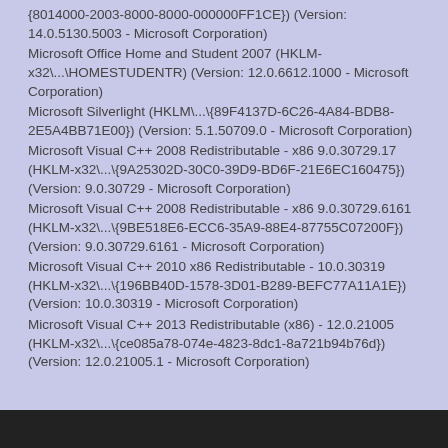{8014000-2003-8000-8000-000000FF1CE}) (Version: 14.0.5130.5003 - Microsoft Corporation)
Microsoft Office Home and Student 2007 (HKLM-x32\...\HOMESTUDENTR) (Version: 12.0.6612.1000 - Microsoft Corporation)
Microsoft Silverlight (HKLM\...\{89F4137D-6C26-4A84-BDB8-2E5A4BB71E00}) (Version: 5.1.50709.0 - Microsoft Corporation)
Microsoft Visual C++ 2008 Redistributable - x86 9.0.30729.17 (HKLM-x32\...\{9A25302D-30C0-39D9-BD6F-21E6EC160475}) (Version: 9.0.30729 - Microsoft Corporation)
Microsoft Visual C++ 2008 Redistributable - x86 9.0.30729.6161 (HKLM-x32\...\{9BE518E6-ECC6-35A9-88E4-87755C07200F}) (Version: 9.0.30729.6161 - Microsoft Corporation)
Microsoft Visual C++ 2010 x86 Redistributable - 10.0.30319 (HKLM-x32\...\{196BB40D-1578-3D01-B289-BEFC77A11A1E}) (Version: 10.0.30319 - Microsoft Corporation)
Microsoft Visual C++ 2013 Redistributable (x86) - 12.0.21005 (HKLM-x32\...\{ce085a78-074e-4823-8dc1-8a721b94b76d}) (Version: 12.0.21005.1 - Microsoft Corporation)